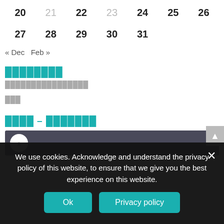| 20 | 21 | 22 | 23 | 24 | 25 | 26 |
| 27 | 28 | 29 | 30 | 31 |  |  |
« Dec   Feb »
████████
████████████████
███
████ – ████████
[Figure (photo): Thumbnail image strip with circular avatar on dark background]
We use cookies. Acknowledge and understand the privacy policy of this website, to ensure that we give you the best experience on this website.